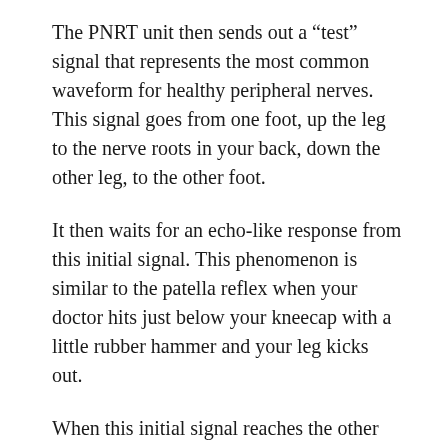The PNRT unit then sends out a “test” signal that represents the most common waveform for healthy peripheral nerves. This signal goes from one foot, up the leg to the nerve roots in your back, down the other leg, to the other foot.
It then waits for an echo-like response from this initial signal. This phenomenon is similar to the patella reflex when your doctor hits just below your kneecap with a little rubber hammer and your leg kicks out.
When this initial signal reaches the other foot, an automatic response sends a signal back to the PNRT unit.
Just as a cardiologist can take one look at the shape of the signal displayed on the EKG monitor above the patient’s bed in the hospital and diagnose what is wrong with the